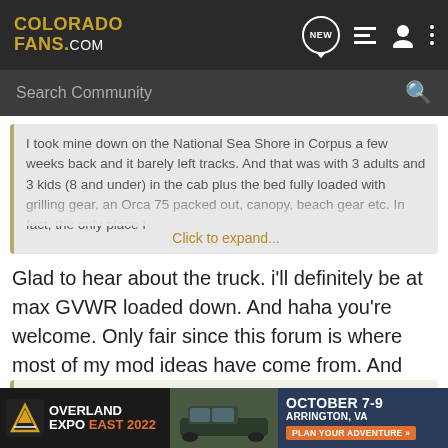COLORADO FANS.COM
Search Community
I took mine down on the National Sea Shore in Corpus a few weeks back and it barely left tracks. And that was with 3 adults and 3 kids (8 and under) in the cab plus the bed fully loaded with grilling gear, an Orca 75 packed out, canopy, beach gear etc. In fact, the only place I
Click to expand...
Glad to hear about the truck. i'll definitely be at max GVWR loaded down. And haha you're welcome. Only fair since this forum is where most of my mod ideas have come from. And stealing from tacomaworld.
dadsafrantic said: ↑
i just installed mine last weekend along with the aev diff skid, both were v... list of mods.
[Figure (other): Overland Expo East 2022 advertisement banner with logo, truck image, dates October 7-9, location Arrington VA, and Plan Your Adventure button]